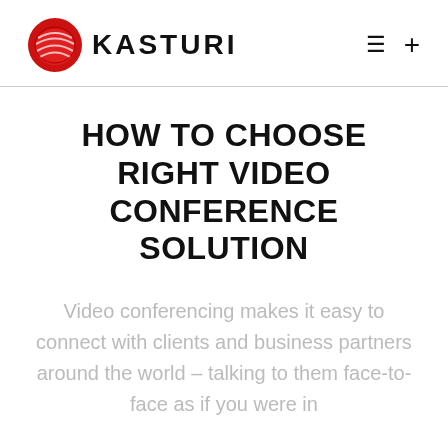KASTURI
HOW TO CHOOSE RIGHT VIDEO CONFERENCE SOLUTION
Video conferencing makes it easy to connect with clients and business partners around the world – talking to them face-to-face as if you were in